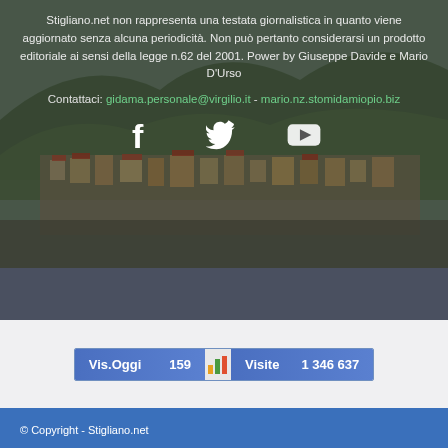Stigliano.net non rappresenta una testata giornalistica in quanto viene aggiornato senza alcuna periodicità. Non può pertanto considerarsi un prodotto editoriale ai sensi della legge n.62 del 2001. Power by Giuseppe Davide e Mario D'Urso
Contattaci: gidama.personale@virgilio.it - mario.nz.stomidamiopio.biz
[Figure (other): Social media icons: Facebook (f), Twitter (bird), YouTube (play button)]
[Figure (infographic): Stats widget showing Vis.Oggi: 159 and Visite: 1 346 637]
© Copyright - Stigliano.net
venerdì 19 Agosto 2022